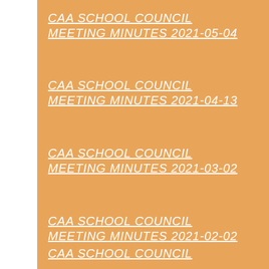CAA SCHOOL COUNCIL MEETING MINUTES 2021-05-04
CAA SCHOOL COUNCIL MEETING MINUTES 2021-04-13
CAA SCHOOL COUNCIL MEETING MINUTES 2021-03-02
CAA SCHOOL COUNCIL MEETING MINUTES 2021-02-02
CAA SCHOOL COUNCIL